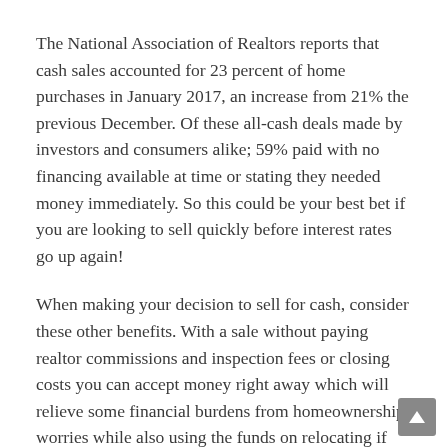The National Association of Realtors reports that cash sales accounted for 23 percent of home purchases in January 2017, an increase from 21% the previous December. Of these all-cash deals made by investors and consumers alike; 59% paid with no financing available at time or stating they needed money immediately. So this could be your best bet if you are looking to sell quickly before interest rates go up again!
When making your decision to sell for cash, consider these other benefits. With a sale without paying realtor commissions and inspection fees or closing costs you can accept money right away which will relieve some financial burdens from homeownership worries while also using the funds on relocating if needed!
If you need help selling your house fast, contact us! We'll find an investor for the situation no matter what code violations or conditions exist. Alternatively, if cash-sale opportunities are more up your alley and we have a condo investment that fits with everything else going on in life – call today to get started finding out how it works prior making any final decisions about